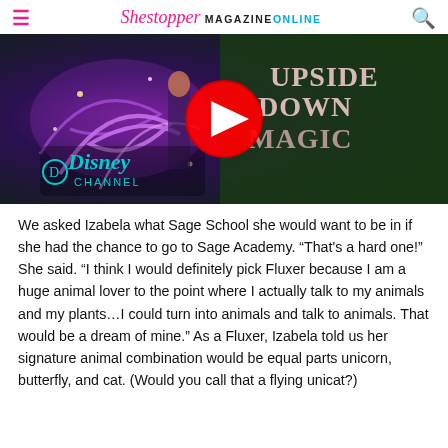Shestopper MAGAZINE ONLINE
[Figure (screenshot): YouTube video thumbnail for Disney Channel's 'Upside Down Magic' movie, showing a girl with magical swirls, Disney Channel logo, and a YouTube play button overlay.]
We asked Izabela what Sage School she would want to be in if she had the chance to go to Sage Academy. “That's a hard one!” She said. “I think I would definitely pick Fluxer because I am a huge animal lover to the point where I actually talk to my animals and my plants…I could turn into animals and talk to animals. That would be a dream of mine.” As a Fluxer, Izabela told us her signature animal combination would be equal parts unicorn, butterfly, and cat. (Would you call that a flying unicat?)